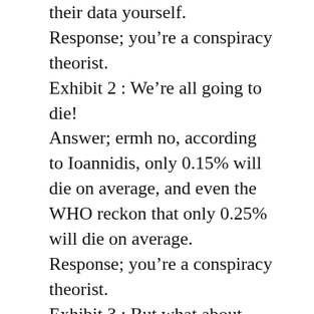their data yourself.
Response; you're a conspiracy theorist.
Exhibit 2 : We're all going to die!
Answer; ermh no, according to Ioannidis, only 0.15% will die on average, and even the WHO reckon that only 0.25% will die on average.
Response; you're a conspiracy theorist.
Exhibit 3 : But what about herd immunity?
Answer; the vaxxes are non sterilising, that is they do not prevent infection, nor prevent reinfection.
Response; crickets
I am utterly bemused. I never thought that I would live in a society that would openly accept tyranny. Unfortunately, the vast majority amongst us do accept tyranny, and I'm at a loss